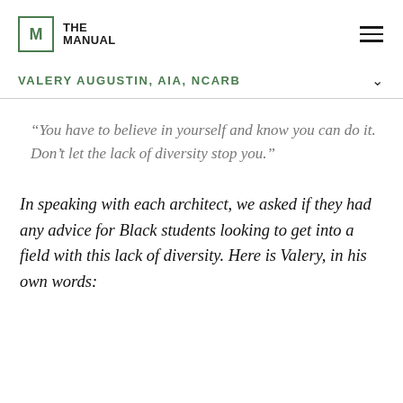THE MANUAL
VALERY AUGUSTIN, AIA, NCARB
“You have to believe in yourself and know you can do it. Don’t let the lack of diversity stop you.”
In speaking with each architect, we asked if they had any advice for Black students looking to get into a field with this lack of diversity. Here is Valery, in his own words: